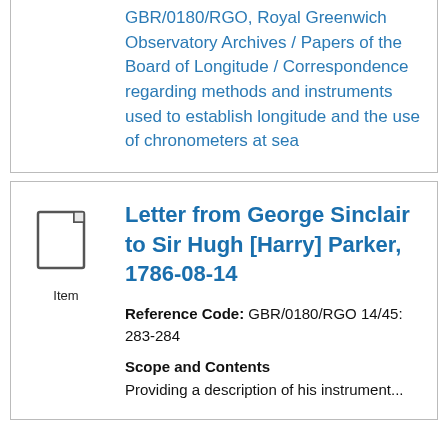GBR/0180/RGO, Royal Greenwich Observatory Archives / Papers of the Board of Longitude / Correspondence regarding methods and instruments used to establish longitude and the use of chronometers at sea
[Figure (illustration): Document/item icon - a page with folded corner]
Item
Letter from George Sinclair to Sir Hugh [Harry] Parker, 1786-08-14
Reference Code: GBR/0180/RGO 14/45: 283-284
Scope and Contents
Providing a description of his instrument...